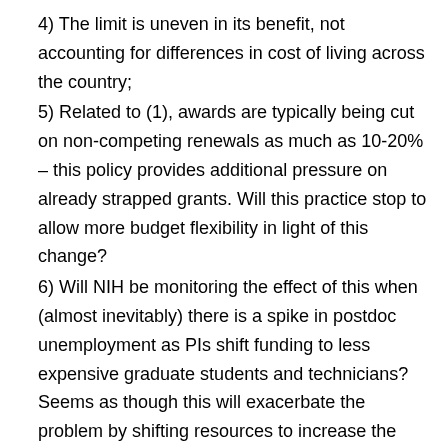4) The limit is uneven in its benefit, not accounting for differences in cost of living across the country;
5) Related to (1), awards are typically being cut on non-competing renewals as much as 10-20% – this policy provides additional pressure on already strapped grants. Will this practice stop to allow more budget flexibility in light of this change?
6) Will NIH be monitoring the effect of this when (almost inevitably) there is a spike in postdoc unemployment as PIs shift funding to less expensive graduate students and technicians? Seems as though this will exacerbate the problem by shifting resources to increase the input into the pipeline while at